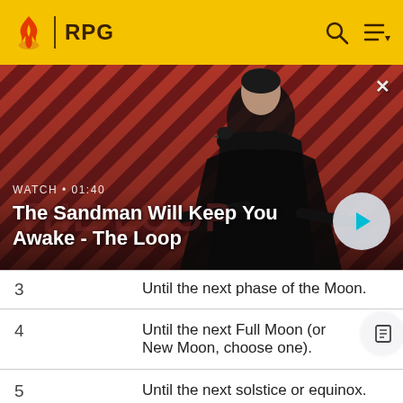RPG
[Figure (screenshot): Video banner showing 'The Sandman Will Keep You Awake - The Loop' with a dark-clad figure and a raven on a red striped background. WATCH • 01:40 label and play button visible.]
| 3 | Until the next phase of the Moon. |
| 4 | Until the next Full Moon (or New Moon, choose one). |
| 5 | Until the next solstice or equinox. |
| 6 | Until the next Winter Solstice. |